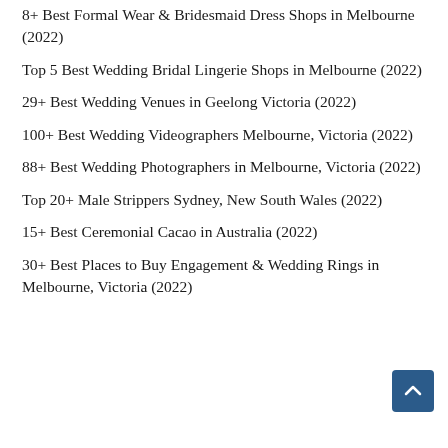8+ Best Formal Wear & Bridesmaid Dress Shops in Melbourne (2022)
Top 5 Best Wedding Bridal Lingerie Shops in Melbourne (2022)
29+ Best Wedding Venues in Geelong Victoria (2022)
100+ Best Wedding Videographers Melbourne, Victoria (2022)
88+ Best Wedding Photographers in Melbourne, Victoria (2022)
Top 20+ Male Strippers Sydney, New South Wales (2022)
15+ Best Ceremonial Cacao in Australia (2022)
30+ Best Places to Buy Engagement & Wedding Rings in Melbourne, Victoria (2022)